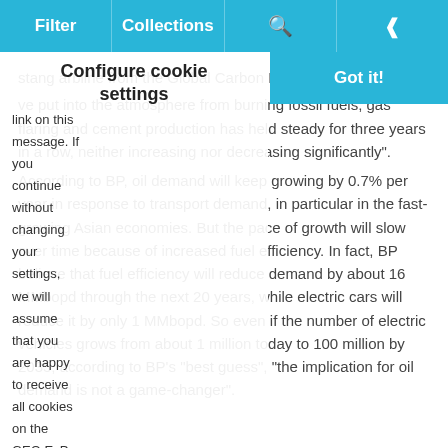Filter | Collections | [search] | [share]
Configure cookie settings
Got it!
link on this message. If you continue without changing your settings, we will assume that you are happy to receive all cookies on the GEO ExPro website.
sta...g arb...line from the Global Carbon Project that the ...of CO₂ ...ve put into the atmosphere from burning fossil fuels, gas flaring and cement production has held steady for three years in a row, neither increasing nor decreasing significantly".
According to BP, oil demand will keep growing by 0.7% per year in response to transport demand, in particular in the fast-growing Asian economies. But the pace of growth will slow over time because of increased fuel efficiency. In fact, BP believe that fuel efficiency will reduce demand by about 16 MMbopd through the next 20 years, while electric cars will reduce it by only 1 MMbopd. So even if the number of electric vehicles grows from about 1 million today to 100 million by 2035, according to BP's "best guess", "the implication for oil demand is not a game-changer".